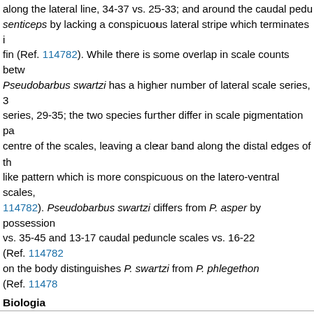along the lateral line, 34-37 vs. 25-33; and around the caudal peduncle senticeps by lacking a conspicuous lateral stripe which terminates in the fin (Ref. 114782). While there is some overlap in scale counts between Pseudobarbus swartzi has a higher number of lateral scale series, 3... series, 29-35; the two species further differ in scale pigmentation pattern: centre of the scales, leaving a clear band along the distal edges of the scales, like pattern which is more conspicuous on the latero-ventral scales, (Ref. 114782). Pseudobarbus swartzi differs from P. asper by possession... vs. 35-45 and 13-17 caudal peduncle scales vs. 16-22 (Ref. 114782). on the body distinguishes P. swartzi from P. phlegethon (Ref. 11478...
Biologia
Pseudobarbus swartzi inhabits perennial mountain streams with clear pebbles and boulders (Ref. 114782). Remnant populations of the species human impacts including habitat degradation, complete water abstraction predators and competitors that are now dominant in mainstream sections.
Life cycle and mating behavior
Main reference
Chakona, A. and P.H. Skelton, 2017. A review of the Pseudobarbus... (Teleostei, Cyprinidae) in the eastern Cape Fold Ecoregion of South...